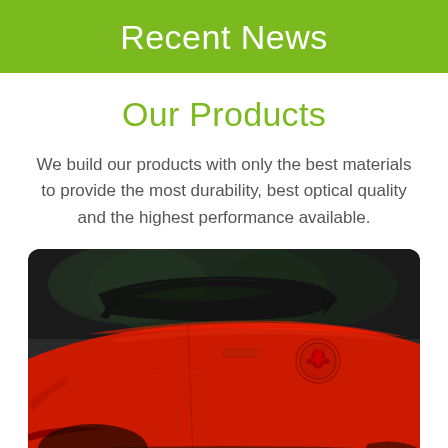Recent News
Our Products
We build our products with only the best materials to provide the most durability, best optical quality and the highest performance available.
[Figure (photo): Close-up photograph of a red sports car (appears to be a Ferrari or similar) showing the side panel, door, window with tinted glass, and a circular logo/fuel cap on the door, with dark background reflections on the glossy red paint.]